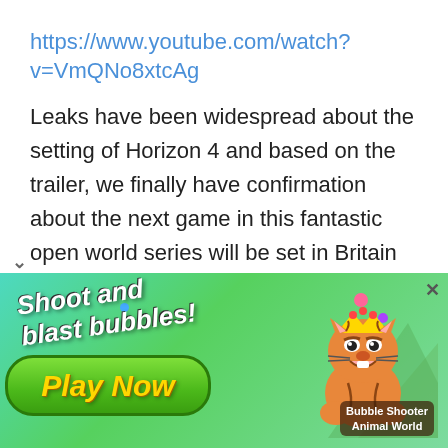https://www.youtube.com/watch?v=VmQNo8xtcAg
Leaks have been widespread about the setting of Horizon 4 and based on the trailer, we finally have confirmation about the next game in this fantastic open world series will be set in Britain and apart from that, it looks to be like there will be new vehicles and customization options! Weather conditions are integral to the game as changing seasons will greatly affect the world, bringing a
[Figure (other): Mobile game advertisement banner for 'Bubble Shooter Animal World' showing colorful game art with a cartoon tiger character, text reading 'Shoot and blast bubbles! Play Now' on a green gradient background with bubbles]